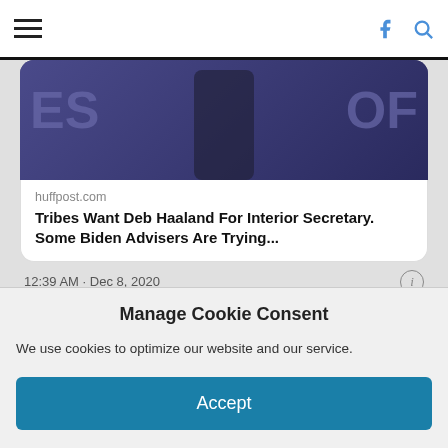Navigation bar with hamburger menu, Facebook icon, and search icon
[Figure (screenshot): Partial photo of a person wearing dark clothing with purple/blue banners in the background showing partial text 'ES' and 'OF']
huffpost.com
Tribes Want Deb Haaland For Interior Secretary. Some Biden Advisers Are Trying...
12:39 AM · Dec 8, 2020
Read the full conversation on Twitter
853   Reply   Copy link
Manage Cookie Consent
We use cookies to optimize our website and our service.
Accept